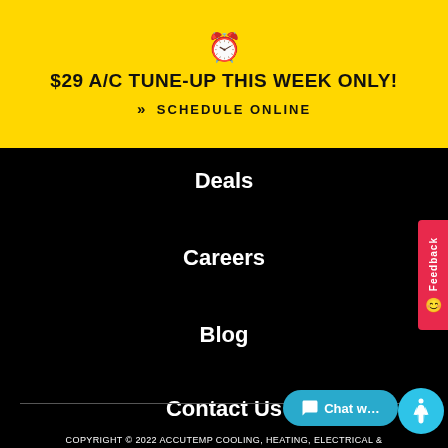[Figure (infographic): Yellow banner with alarm clock icon, bold promo text '$29 A/C TUNE-UP THIS WEEK ONLY!' and a 'SCHEDULE ONLINE' call-to-action link]
Deals
Careers
Blog
Contact Us
COPYRIGHT © 2022 ACCUTEMP COOLING, HEATING, ELECTRICAL &